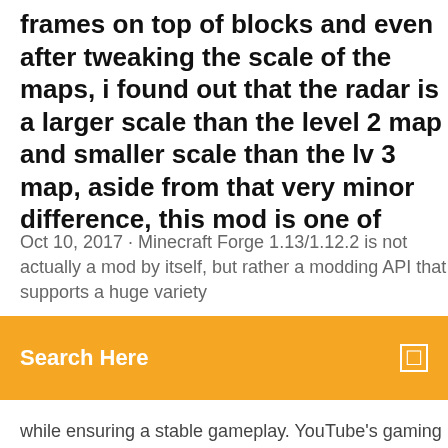frames on top of blocks and even after tweaking the scale of the maps, i found out that the radar is a larger scale than the level 2 map and smaller scale than the lv 3 map, aside from that very minor difference, this mod is one of
Oct 10, 2017 · Minecraft Forge 1.13/1.12.2 is not actually a mod by itself, but rather a modding API that supports a huge variety
[Figure (screenshot): Orange search bar with 'Search Here' placeholder text and a search icon on the right]
while ensuring a stable gameplay. YouTube's gaming channel, featuring news, reviews, playthroughs, and more. This channel was generated automatically by YouTube's video discovery system. Minecraft 1.10.2 Texture Packs; Tools; Home Tags Minecraft 1.8 Mods. Minecraft 1.8 Mods. VoxelMap Mod for Minecraft 1.15/1.14.4/1.13.2. Nov 25, 2019. VoxelMap is a Buy now the best antivirus program for all your devices. Protect your computer, tablet and smartphone against all types of viruses, malware and ransomware. The Lucky Block Mod